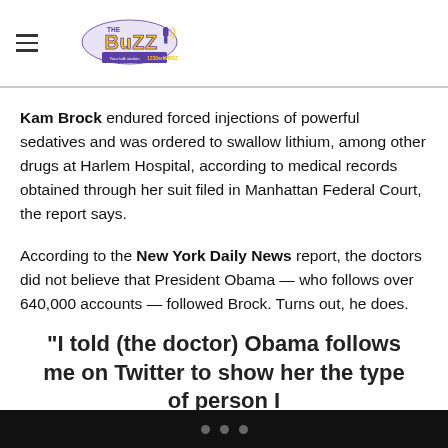THE BUZZ WDBZ - Your talk station 1230am
Kam Brock endured forced injections of powerful sedatives and was ordered to swallow lithium, among other drugs at Harlem Hospital, according to medical records obtained through her suit filed in Manhattan Federal Court, the report says.
According to the New York Daily News report, the doctors did not believe that President Obama — who follows over 640,000 accounts — followed Brock. Turns out, he does.
“I told (the doctor) Obama follows me on Twitter to show her the type of person I